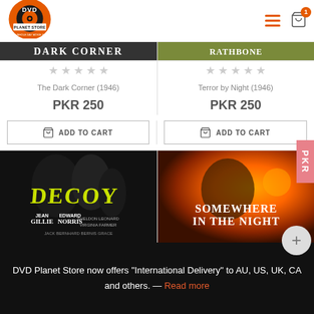[Figure (logo): DVD Planet Store logo - orange disc with text]
[Figure (screenshot): Partial movie cover images at top (The Dark Corner and Terror by Night)]
The Dark Corner (1946)
PKR 250
ADD TO CART
Terror by Night (1946)
PKR 250
ADD TO CART
[Figure (photo): Decoy (1946) movie poster - black and white noir film]
[Figure (photo): Somewhere in the Night (1946) movie poster - orange toned]
PKR
DVD Planet Store now offers "International Delivery" to AU, US, UK, CA and others. — Read more